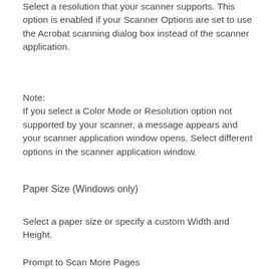Select a resolution that your scanner supports. This option is enabled if your Scanner Options are set to use the Acrobat scanning dialog box instead of the scanner application.
Note:
If you select a Color Mode or Resolution option not supported by your scanner, a message appears and your scanner application window opens. Select different options in the scanner application window.
Paper Size (Windows only)
Select a paper size or specify a custom Width and Height.
Prompt to Scan More Pages